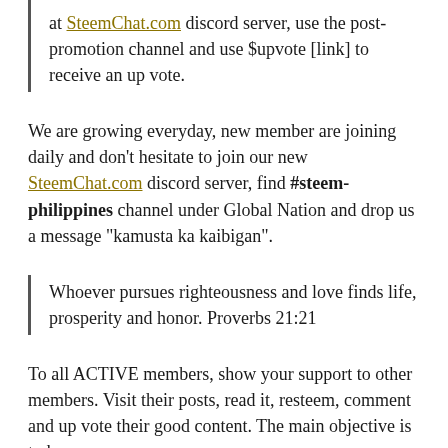at SteemChat.com discord server, use the post-promotion channel and use $upvote [link] to receive an up vote.
We are growing everyday, new member are joining daily and don't hesitate to join our new SteemChat.com discord server, find #steem-philippines channel under Global Nation and drop us a message "kamusta ka kaibigan".
Whoever pursues righteousness and love finds life, prosperity and honor. Proverbs 21:21
To all ACTIVE members, show your support to other members. Visit their posts, read it, resteem, comment and up vote their good content. The main objective is to keep